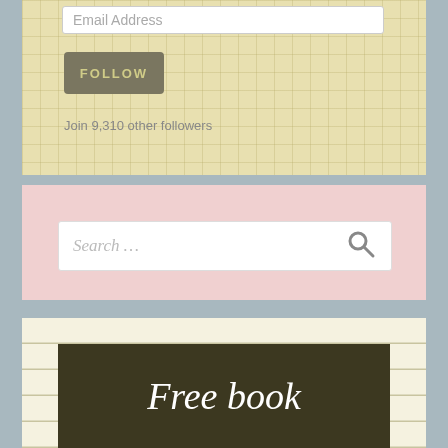Email Address
[Figure (screenshot): FOLLOW button on yellow grid background]
Join 9,310 other followers
[Figure (screenshot): Search box with placeholder 'Search ...' on pink background]
[Figure (screenshot): Free book banner on lined notebook background]